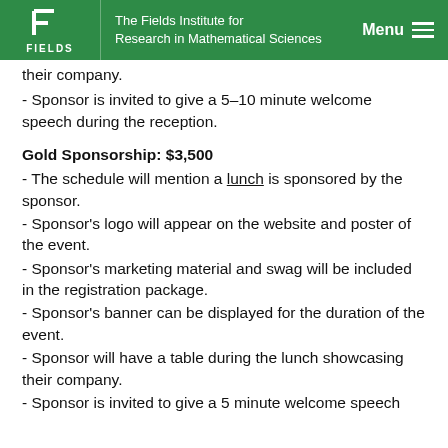The Fields Institute for Research in Mathematical Sciences
their company.
- Sponsor is invited to give a 5–10 minute welcome speech during the reception.
Gold Sponsorship: $3,500
- The schedule will mention a lunch is sponsored by the sponsor.
- Sponsor's logo will appear on the website and poster of the event.
- Sponsor's marketing material and swag will be included in the registration package.
- Sponsor's banner can be displayed for the duration of the event.
- Sponsor will have a table during the lunch showcasing their company.
- Sponsor is invited to give a 5 minute welcome speech